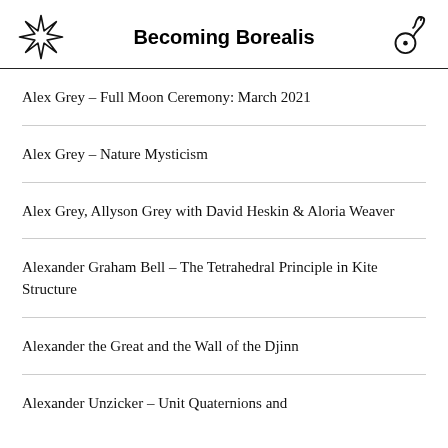Becoming Borealis
Alex Grey – Full Moon Ceremony: March 2021
Alex Grey – Nature Mysticism
Alex Grey, Allyson Grey with David Heskin & Aloria Weaver
Alexander Graham Bell – The Tetrahedral Principle in Kite Structure
Alexander the Great and the Wall of the Djinn
Alexander Unzicker – Unit Quaternions and